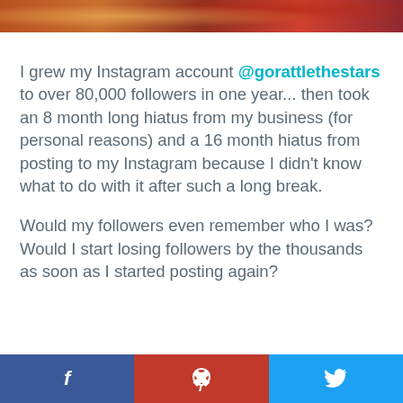[Figure (photo): Cropped photo strip at top of page showing people, partial view with warm red/orange tones]
I grew my Instagram account @gorattlethestars to over 80,000 followers in one year... then took an 8 month long hiatus from my business (for personal reasons) and a 16 month hiatus from posting to my Instagram because I didn't know what to do with it after such a long break.

Would my followers even remember who I was? Would I start losing followers by the thousands as soon as I started posting again?
[Figure (infographic): Social share bar at bottom with Facebook (blue), Pinterest (red), and Twitter (light blue) buttons]